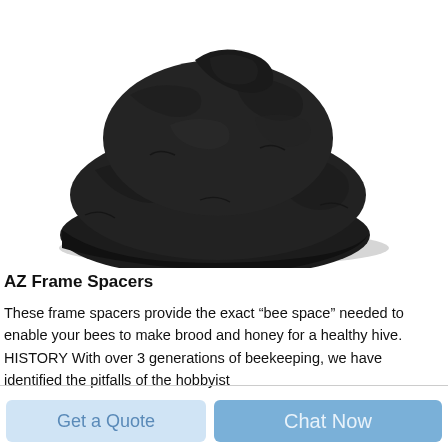[Figure (photo): A black fabric item, appears to be a bundled or rolled dark textile/cover, photographed from above on a white background.]
AZ Frame Spacers
These frame spacers provide the exact “bee space” needed to enable your bees to make brood and honey for a healthy hive. HISTORY With over 3 generations of beekeeping, we have identified the pitfalls of the hobbyist